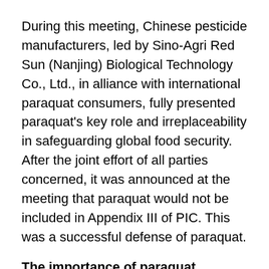During this meeting, Chinese pesticide manufacturers, led by Sino-Agri Red Sun (Nanjing) Biological Technology Co., Ltd., in alliance with international paraquat consumers, fully presented paraquat's key role and irreplaceability in safeguarding global food security. After the joint effort of all parties concerned, it was announced at the meeting that paraquat would not be included in Appendix III of PIC. This was a successful defense of paraquat.
The importance of paraquat
Paraquat is important to agricultural development, due to its broad herbicidal spectrum and fast acting effect, making it an important tool for achieving development,